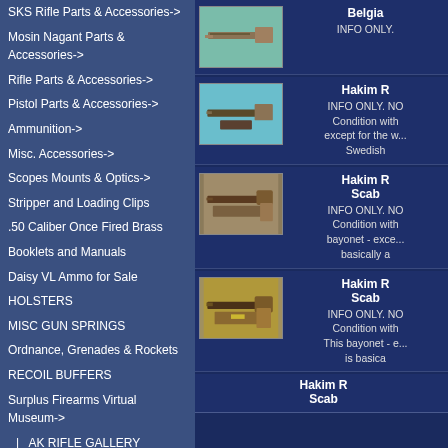SKS Rifle Parts & Accessories->
Mosin Nagant Parts & Accessories->
Rifle Parts & Accessories->
Pistol Parts & Accessories->
Ammunition->
Misc. Accessories->
Scopes Mounts & Optics->
Stripper and Loading Clips
.50 Caliber Once Fired Brass
Booklets and Manuals
Daisy VL Ammo for Sale
HOLSTERS
MISC GUN SPRINGS
Ordnance, Grenades & Rockets
RECOIL BUFFERS
Surplus Firearms Virtual Museum->
|_ AK RIFLE GALLERY
|_ BAYONET GALLERY
|_ CIVIL DEFENSE GALLERY
|_ NON-MILITARY GALLERY->
|_ ORDNANCE, GRENADES, MUNITIONS->
|_ POSTERS & PAPER ITEMS
[Figure (photo): Belgian bayonet product photo]
Belgian INFO ONLY.
[Figure (photo): Hakim Rifle bayonet product photo]
Hakim R... INFO ONLY. NO... Condition with... except for the w... Swedish...
[Figure (photo): Hakim Rifle with Scabbard bayonet product photo]
Hakim R... Scab... INFO ONLY. NO... Condition with... bayonet - exce... basically a...
[Figure (photo): Hakim Rifle with Scabbard second product photo]
Hakim R... Scab... INFO ONLY. NO... Condition with... This bayonet - e... is basica...
Hakim R... Scab...